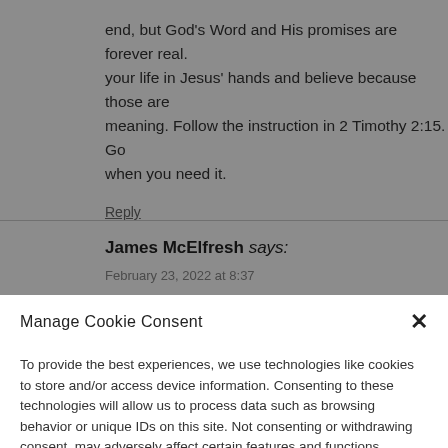end, but God's Word and His promises are forever real. your life in Jesus' hands and believe because those are meaning. Follow the instruction in 2 Timothy 2:15. Go when you need it.
Reply
James McElfresh says:
Manage Cookie Consent
To provide the best experiences, we use technologies like cookies to store and/or access device information. Consenting to these technologies will allow us to process data such as browsing behavior or unique IDs on this site. Not consenting or withdrawing consent, may adversely affect certain features and functions.
Accept
Cookie Policy
[Figure (logo): TrustedSite Certified Secure badge with green checkmark]